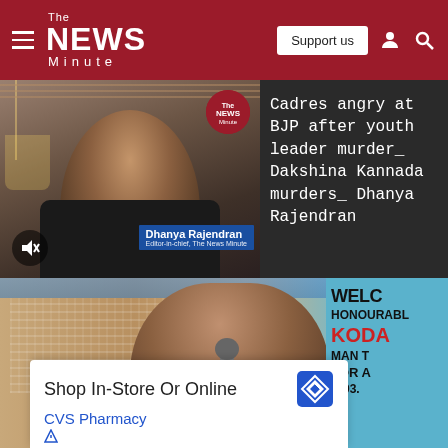The NEWS Minute — Support us
[Figure (screenshot): Video thumbnail of Dhanya Rajendran, Editor-in-chief of The News Minute, speaking on camera with TNM logo circle overlay and name badge.]
Cadres angry at BJP after youth leader murder_ Dakshina Kannada murders_ Dhanya Rajendran
[Figure (photo): Photo of a man speaking into a microphone at an event, with a blue welcome banner partially visible on the right reading WELC HONOURABLE KODA MAN T FOR A N 03.]
Shop In-Store Or Online
CVS Pharmacy